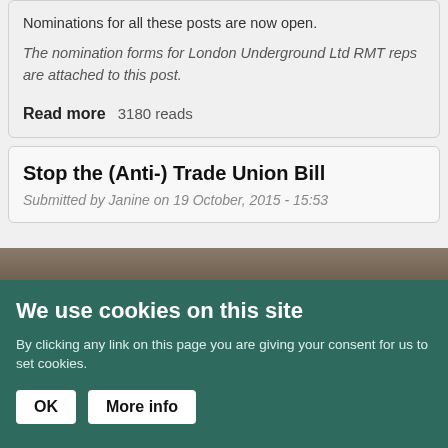Nominations for all these posts are now open.
The nomination forms for London Underground Ltd RMT reps are attached to this post.
Read more   3180 reads
Stop the (Anti-) Trade Union Bill
Submitted by Janine on 19 October, 2015 - 15:53
We use cookies on this site
By clicking any link on this page you are giving your consent for us to set cookies.
OK   More info